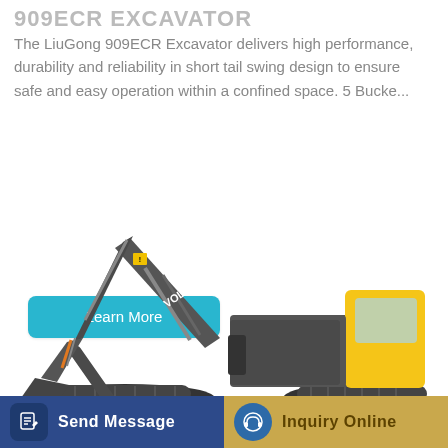909ECR EXCAVATOR
The LiuGong 909ECR Excavator delivers high performance, durability and reliability in short tail swing design to ensure safe and easy operation within a confined space. 5 Bucke...
[Figure (other): Learn More button - rounded teal/cyan button with white text]
[Figure (photo): A large yellow and black Volvo excavator (crawler type) shown in side profile on a white background. The machine has a long boom arm extended to the left with a bucket at the end, and a cab with yellow panels on the right. The undercarriage has rubber tracks.]
[Figure (other): Bottom footer bar with two buttons: 'Send Message' (dark blue with document icon) and 'Inquiry Online' (gold/tan with blue headset icon)]